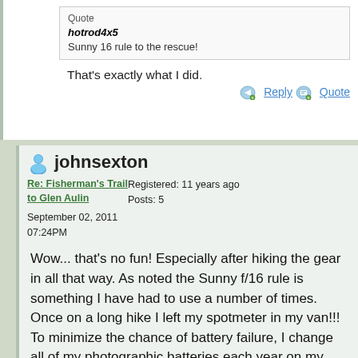Quote
hotrod4x5
Sunny 16 rule to the rescue!
That's exactly what I did.
johnsexton
Re: Fisherman's Trail to Glen Aulin
Registered: 11 years ago
Posts: 5
September 02, 2011
07:24PM
Wow... that's no fun! Especially after hiking the gear in all that way. As noted the Sunny f/16 rule is something I have had to use a number of times. Once on a long hike I left my spotmeter in my van!!! To minimize the chance of battery failure, I change all of my photographic batteries each year on my birthday.